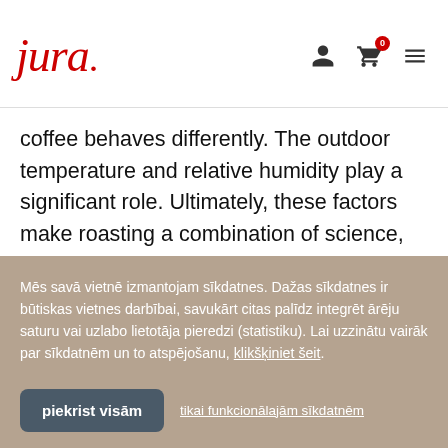jura (logo) with user, cart, menu icons
coffee behaves differently. The outdoor temperature and relative humidity play a significant role. Ultimately, these factors make roasting a combination of science, experience, instinct, intuition and art. From a certain point onwards, the roastmaster frequently takes samples and compares the colour with a reference chart. We suddenly
Mēs savā vietnē izmantojam sīkdatnes. Dažas sīkdatnes ir būtiskas vietnes darbībai, savukārt citas palīdz integrēt ārēju saturu vai uzlabo lietotāja pieredzi (statistiku). Lai uzzinātu vairāk par sīkdatnēm un to atspējošanu, klikšķiniet šeit.
piekrist visām
tikai funkcionālajām sīkdatnēm